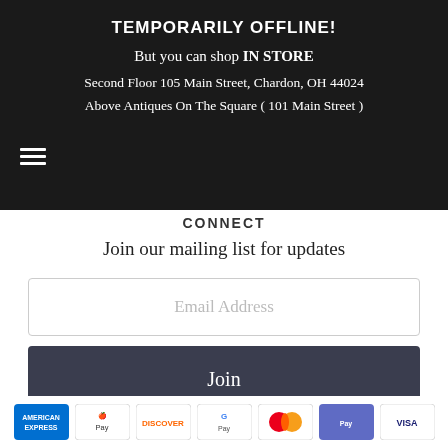TEMPORARILY OFFLINE!
But you can shop IN STORE
Second Floor 105 Main Street, Chardon, OH 44024
Above Antiques On The Square ( 101 Main Street )
CONNECT
Join our mailing list for updates
Email Address
Join
[Figure (other): Payment method icons: AMEX, Apple Pay, Discover, Google Pay, Mastercard, Samsung Pay, Visa]